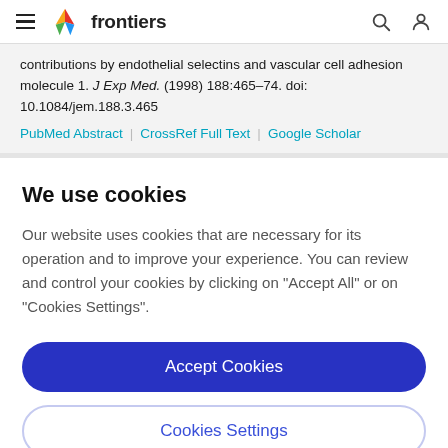frontiers
contributions by endothelial selectins and vascular cell adhesion molecule 1. J Exp Med. (1998) 188:465–74. doi: 10.1084/jem.188.3.465
PubMed Abstract | CrossRef Full Text | Google Scholar
We use cookies
Our website uses cookies that are necessary for its operation and to improve your experience. You can review and control your cookies by clicking on "Accept All" or on "Cookies Settings".
Accept Cookies
Cookies Settings